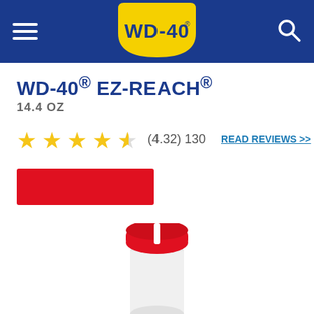[Figure (logo): WD-40 website header navigation bar with hamburger menu, WD-40 logo (yellow shield with blue text), and search icon on blue background]
WD-40® EZ-REACH®
14.4 OZ
(4.32) 130   READ REVIEWS >>
[Figure (other): Red color selection button (selected product color variant)]
[Figure (photo): Partial image of WD-40 EZ-REACH can with red flexible straw/nozzle visible at bottom of page]